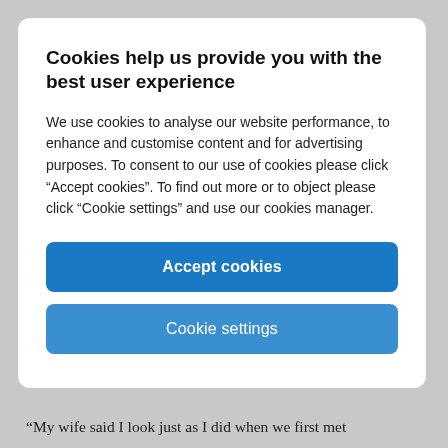Cookies help us provide you with the best user experience
We use cookies to analyse our website performance, to enhance and customise content and for advertising purposes. To consent to our use of cookies please click “Accept cookies”. To find out more or to object please click “Cookie settings” and use our cookies manager.
Accept cookies
Cookie settings
“My wife said I look just as I did when we first met